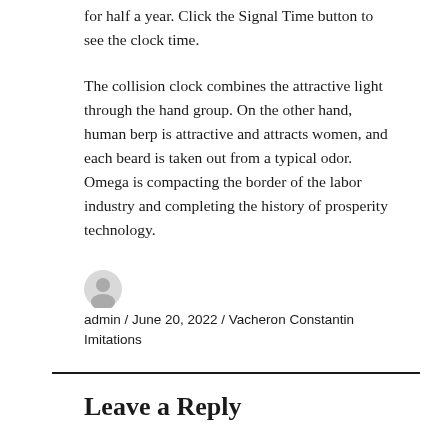for half a year. Click the Signal Time button to see the clock time.
The collision clock combines the attractive light through the hand group. On the other hand, human berp is attractive and attracts women, and each beard is taken out from a typical odor. Omega is compacting the border of the labor industry and completing the history of prosperity technology.
admin / June 20, 2022 / Vacheron Constantin Imitations
Leave a Reply